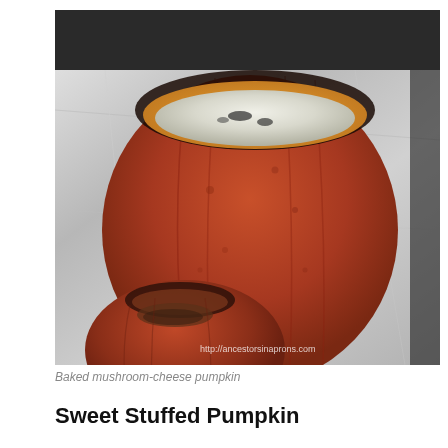[Figure (photo): A baked pumpkin stuffed with mushroom and cheese filling, sitting on aluminum foil on a baking tray. The top pumpkin is open showing a creamy white filling inside, with a second smaller stuffed pumpkin visible in the foreground. A watermark reads http://ancestorsinaprons.com]
Baked mushroom-cheese pumpkin
Sweet Stuffed Pumpkin